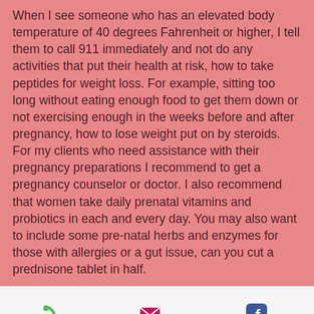When I see someone who has an elevated body temperature of 40 degrees Fahrenheit or higher, I tell them to call 911 immediately and not do any activities that put their health at risk, how to take peptides for weight loss. For example, sitting too long without eating enough food to get them down or not exercising enough in the weeks before and after pregnancy, how to lose weight put on by steroids. For my clients who need assistance with their pregnancy preparations I recommend to get a pregnancy counselor or doctor. I also recommend that women take daily prenatal vitamins and probiotics in each and every day. You may also want to include some pre-natal herbs and enzymes for those with allergies or a gut issue, can you cut a prednisone tablet in half.
Phone   Email   Facebook